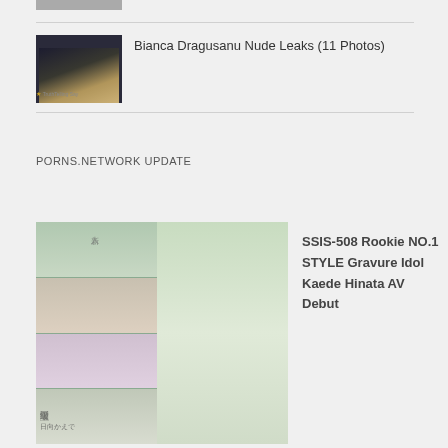[Figure (photo): Partial thumbnail image at top of page, partially cropped]
Bianca Dragusanu Nude Leaks (11 Photos)
[Figure (photo): Dark toned photo thumbnail]
PORNS.NETWORK UPDATE
[Figure (photo): SSIS-508 Japanese AV cover collage with multiple panels and main model photo]
SSIS-508 Rookie NO.1 STYLE Gravure Idol Kaede Hinata AV Debut